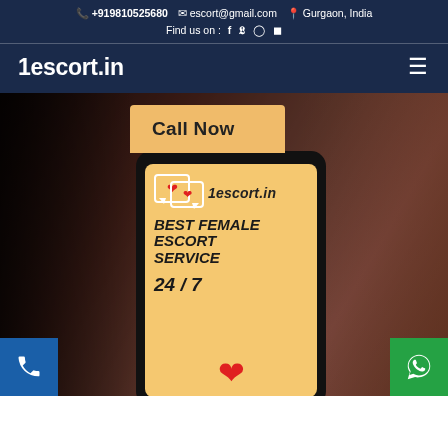+919810525680  escort@gmail.com  Gurgaon, India  Find us on : f  twitter  instagram  youtube
1escort.in
[Figure (screenshot): Website screenshot of 1escort.in showing contact bar, navigation with hamburger menu, a Call Now button overlaying a hero image of a woman, and a tablet device displaying the site logo with hearts, '1escort.in', 'BEST FEMALE ESCORT SERVICE', '24/7', and a red heart icon. Bottom corners have phone and WhatsApp call-to-action buttons.]